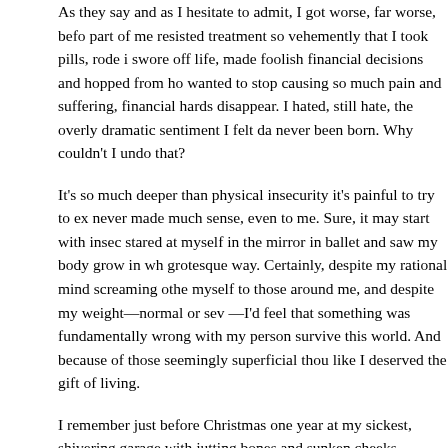As they say and as I hesitate to admit, I got worse, far worse, before part of me resisted treatment so vehemently that I took pills, rode in swore off life, made foolish financial decisions and hopped from ho wanted to stop causing so much pain and suffering, financial hards disappear. I hated, still hate, the overly dramatic sentiment I felt da never been born. Why couldn't I undo that?
It's so much deeper than physical insecurity it's painful to try to exp never made much sense, even to me. Sure, it may start with insec stared at myself in the mirror in ballet and saw my body grow in wh grotesque way. Certainly, despite my rational mind screaming othe myself to those around me, and despite my weight—normal or sev —I'd feel that something was fundamentally wrong with my person survive this world. And because of those seemingly superficial thou like I deserved the gift of living.
I remember just before Christmas one year at my sickest, shivering garage with jutting bones and sunken cheeks, sucking on a cigaret fact that I'd been let out of the psych ward, a safe haven, days bef with my family for the holidays. My family were, and are, nothing bu loving and giving people, the best parents and siblings one could a the assumption of some health-care providers and counselors that